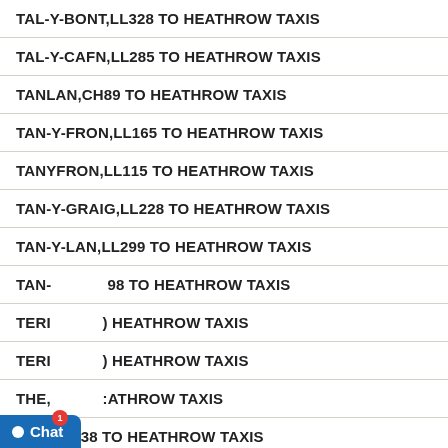TAL-Y-BONT,LL328 TO HEATHROW TAXIS
TAL-Y-CAFN,LL285 TO HEATHROW TAXIS
TANLAN,CH89 TO HEATHROW TAXIS
TAN-Y-FRON,LL165 TO HEATHROW TAXIS
TANYFRON,LL115 TO HEATHROW TAXIS
TAN-Y-GRAIG,LL228 TO HEATHROW TAXIS
TAN-Y-LAN,LL299 TO HEATHROW TAXIS
TAN-[obscured]98 TO HEATHROW TAXIS
TERI[obscured] HEATHROW TAXIS
TERI[obscured] HEATHROW TAXIS
THE,[obscured]ATHROW TAXIS
[obscured]38 TO HEATHROW TAXIS
[Figure (screenshot): Chat popup overlay with message: Hello there! Good Day! We have Hidden offers on most of our routes, interested to know what lies... with Type input bar and chat button at bottom left with badge showing 1]